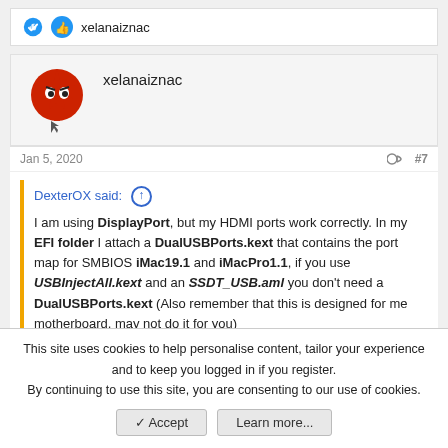xelanaiznac
xelanaiznac
Jan 5, 2020  #7
DexterOX said: ↑

I am using DisplayPort, but my HDMI ports work correctly. In my EFI folder I attach a DualUSBPorts.kext that contains the port map for SMBIOS iMac19.1 and iMacPro1.1, if you use USBInjectAll.kext and an SSDT_USB.aml you don't need a DualUSBPorts.kext (Also remember that this is designed for me motherboard, may not do it for you)
thank you
This site uses cookies to help personalise content, tailor your experience and to keep you logged in if you register.
By continuing to use this site, you are consenting to our use of cookies.
Accept  Learn more...